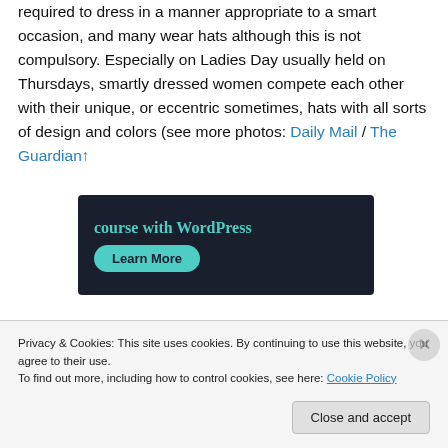required to dress in a manner appropriate to a smart occasion, and many wear hats although this is not compulsory. Especially on Ladies Day usually held on Thursdays, smartly dressed women compete each other with their unique, or eccentric sometimes, hats with all sorts of design and colors (see more photos: Daily Mail / The Guardian↑
[Figure (screenshot): Dark navy advertisement banner with teal text 'course with WordPress' and a teal rounded 'Learn More' button]
Privacy & Cookies: This site uses cookies. By continuing to use this website, you agree to their use.
To find out more, including how to control cookies, see here: Cookie Policy
Close and accept